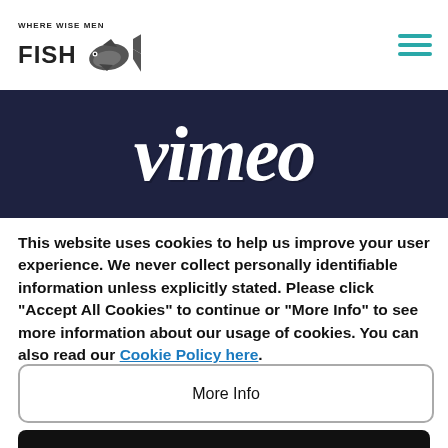[Figure (logo): Where Wise Men Fish logo with fish illustration and teal hamburger menu icon]
[Figure (logo): Vimeo logo in white italic text on dark navy background]
This website uses cookies to help us improve your user experience. We never collect personally identifiable information unless explicitly stated. Please click "Accept All Cookies" to continue or "More Info" to see more information about our usage of cookies. You can also read our Cookie Policy here.
More Info
Accept All Cookies